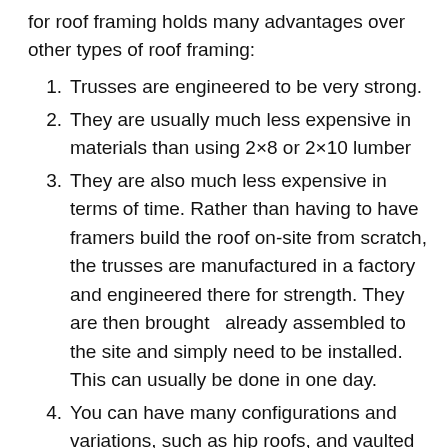for roof framing holds many advantages over other types of roof framing:
1. Trusses are engineered to be very strong.
2. They are usually much less expensive in materials than using 2×8 or 2×10 lumber
3. They are also much less expensive in terms of time. Rather than having to have framers build the roof on-site from scratch, the trusses are manufactured in a factory and engineered there for strength. They are then brought  already assembled to the site and simply need to be installed. This can usually be done in one day.
4. You can have many configurations and variations, such as hip roofs, and vaulted or cathedral